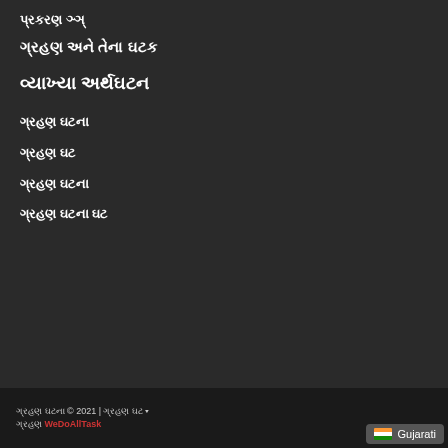પ્રકરણ ૧૧૧
ગ્રહણ અને તેના ઘટક
વ્યાખ્યા અર્થઘટન
ગ્રહણ ઘટના
ગ્રહણ ઘટ
ગ્રહણ ઘટના
ગ્રહણ ઘટના ઘટ
ગ્રહણ ઘટના © 2021 | ગ્રહણ ઘટ WeDoAllTask